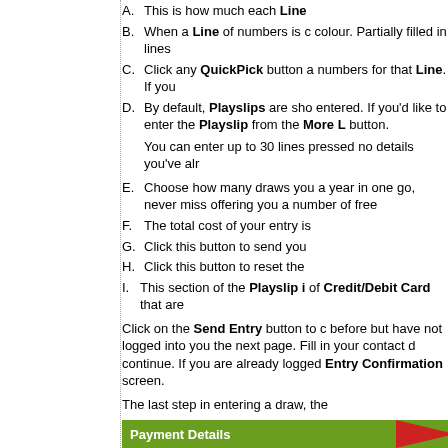A. This is how much each Line
B. When a Line of numbers is c colour. Partially filled in lines
C. Click any QuickPick button a numbers for that Line. If you
D. By default, Playslips are sho entered. If you'd like to enter the Playslip from the More L button.
You can enter up to 30 lines pressed no details you've alr
E. Choose how many draws you a year in one go, never miss offering you a number of free
F. The total cost of your entry is
G. Click this button to send you
H. Click this button to reset the
I. This section of the Playslip i of Credit/Debit Card that are
Click on the Send Entry button to c before but have not logged into you the next page. Fill in your contact d continue. If you are already logged Entry Confirmation screen.
The last step in entering a draw, the
Payment Details